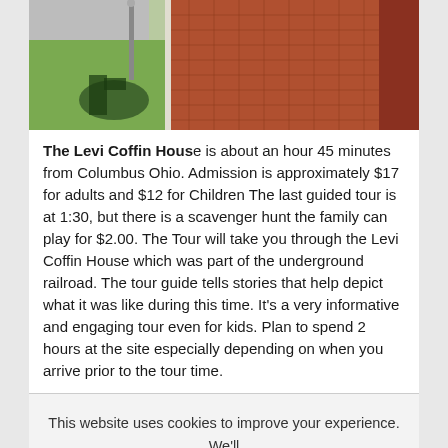[Figure (photo): Outdoor photo showing a street lamp pole casting a shadow on grass, with a red brick pathway and building on the right side.]
The Levi Coffin House is about an hour 45 minutes from Columbus Ohio. Admission is approximately $17 for adults and $12 for Children The last guided tour is at 1:30, but there is a scavenger hunt the family can play for $2.00. The Tour will take you through the Levi Coffin House which was part of the underground railroad. The tour guide tells stories that help depict what it was like during this time. It's a very informative and engaging tour even for kids. Plan to spend 2 hours at the site especially depending on when you arrive prior to the tour time.
This website uses cookies to improve your experience. We'll assume you're ok with this, but you can opt-out if you wish.